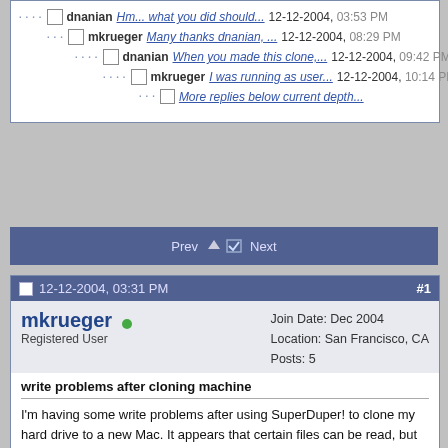dnanian Hm... what you did should... 12-12-2004, 03:53 PM
mkrueger Many thanks dnanian, ... 12-12-2004, 08:29 PM
dnanian When you made this clone,... 12-12-2004, 09:42 PM
mkrueger I was running as user... 12-12-2004, 10:14 PM
More replies below current depth...
Prev Next
12-12-2004, 03:31 PM #1
mkrueger
Registered User
Join Date: Dec 2004
Location: San Francisco, CA
Posts: 5
write problems after cloning machine
I'm having some write problems after using SuperDuper! to clone my hard drive to a new Mac. It appears that certain files can be read, but not written to. I first noticed this in my ~/Library/Preferences directory, but it appears to be in other places also. I did an "ls -la" on each level of my heirarchy leading to Preferences on both the original machine and the new one, and all the security settings seem the same, so I can't figure out what went wrong. Here is exactly what I did:

Two Macs:
old 1.25Ghz 15" PowerBook G4 with 80GB drive